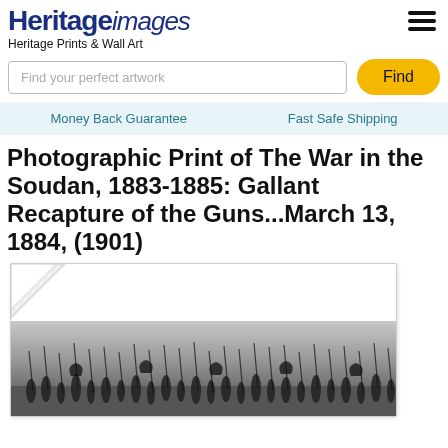Heritage images — Heritage Prints & Wall Art
Find your perfect artwork
Money Back Guarantee   Fast Safe Shipping
Photographic Print of The War in the Soudan, 1883-1885: Gallant Recapture of the Guns...March 13, 1884, (1901)
[Figure (illustration): A historical photographic print showing a battle scene from The War in the Soudan, 1883-1885, with soldiers fighting, displayed as a wall art print with a curled corner effect.]